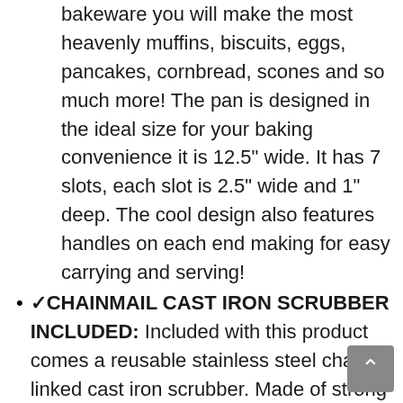MULTIPLE USES: Using this cast iron bakeware you will make the most heavenly muffins, biscuits, eggs, pancakes, cornbread, scones and so much more! The pan is designed in the ideal size for your baking convenience it is 12.5" wide. It has 7 slots, each slot is 2.5" wide and 1" deep. The cool design also features handles on each end making for easy carrying and serving!
✓CHAINMAIL CAST IRON SCRUBBER INCLUDED: Included with this product comes a reusable stainless steel chain-linked cast iron scrubber. Made of strong stainless steel, it will last you for years! This cast iron skillet cleaner is designed specifically for all types of cast iron to